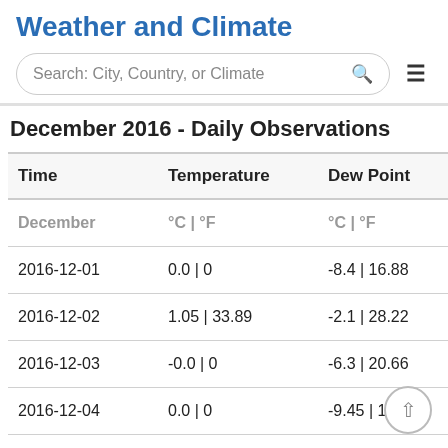Weather and Climate
Search: City, Country, or Climate
December 2016 - Daily Observations
| Time | Temperature | Dew Point | Hu |
| --- | --- | --- | --- |
| December | °C | °F | °C | °F |  |
| 2016-12-01 | 0.0 | 0 | -8.4 | 16.88 |  |
| 2016-12-02 | 1.05 | 33.89 | -2.1 | 28.22 |  |
| 2016-12-03 | -0.0 | 0 | -6.3 | 20.66 |  |
| 2016-12-04 | 0.0 | 0 | -9.45 | 14.99 |  |